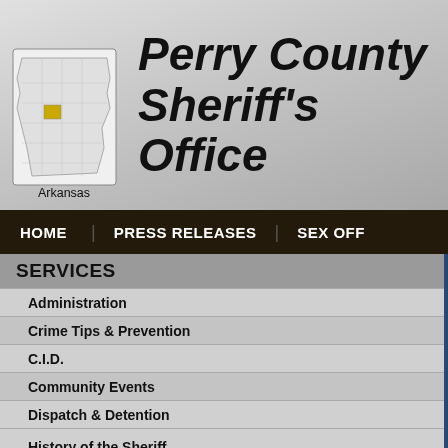[Figure (logo): Arkansas state map with Perry County highlighted in gold, with 'Arkansas' label below]
Perry County Sheriff's Office
HOME    PRESS RELEASES    SEX OFF
SERVICES
Administration
Crime Tips & Prevention
C.I.D.
Community Events
Dispatch & Detention
Employment
History of the Sheriff
Administration
Sheriff Scott Montgomery
I was born in Morrilton, AR M